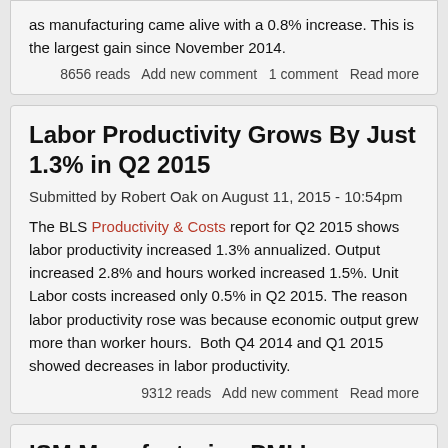as manufacturing came alive with a 0.8% increase. This is the largest gain since November 2014.
8656 reads  Add new comment  1 comment  Read more
Labor Productivity Grows By Just 1.3% in Q2 2015
Submitted by Robert Oak on August 11, 2015 - 10:54pm
The BLS Productivity & Costs report for Q2 2015 shows labor productivity increased 1.3% annualized.  Output increased 2.8% and hours worked increased 1.5%.  Unit Labor costs increased only 0.5% in Q2 2015.  The reason labor productivity rose was because economic output grew more than worker hours.  Both Q4 2014 and Q1 2015 showed decreases in labor productivity.
9312 reads  Add new comment  Read more
ISM Manufacturing PMI Increases to